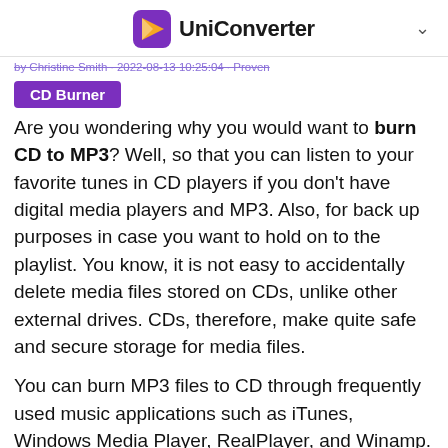UniConverter
by Christine Smith · 2022-08-13 10:25:04 · Proven
CD Burner
Are you wondering why you would want to burn CD to MP3? Well, so that you can listen to your favorite tunes in CD players if you don't have digital media players and MP3. Also, for back up purposes in case you want to hold on to the playlist. You know, it is not easy to accidentally delete media files stored on CDs, unlike other external drives. CDs, therefore, make quite safe and secure storage for media files.
You can burn MP3 files to CD through frequently used music applications such as iTunes, Windows Media Player, RealPlayer, and Winamp. In this article, however, we will address how to burn CD to MP3 on Windows 10 in Windows Media Player and also on a third-party app called Wondershare UniConverter.